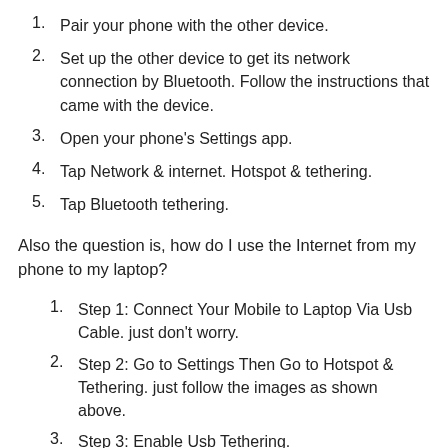1. Pair your phone with the other device.
2. Set up the other device to get its network connection by Bluetooth. Follow the instructions that came with the device.
3. Open your phone’s Settings app.
4. Tap Network & internet. Hotspot & tethering.
5. Tap Bluetooth tethering.
Also the question is, how do I use the Internet from my phone to my laptop?
1. Step 1: Connect Your Mobile to Laptop Via Usb Cable. just don’t worry.
2. Step 2: Go to Settings Then Go to Hotspot & Tethering. just follow the images as shown above.
3. Step 3: Enable Usb Tethering.